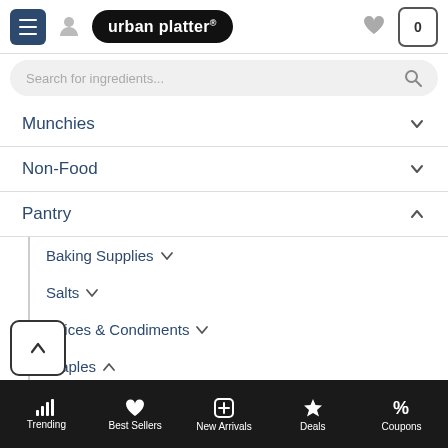urban platter® — navigation header with menu, user, logo, heart, cart
Search for ingredients...
Munchies
Non-Food
Pantry (expanded)
Baking Supplies
Salts
Spices & Condiments
Staples (expanded)
Canned Food
Flours (expanded)
Almond Flour
Trending | Best Sellers | New Arrivals | Deals | Coupons